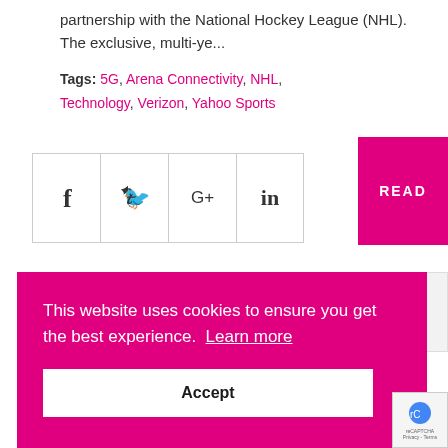partnership with the National Hockey League (NHL). The exclusive, multi-ye...
Tags: 5G, Arena Connectivity, NHL, Technology, Verizon, Yahoo Sports
[Figure (infographic): Social media sharing icons: Facebook, Twitter, Google+, LinkedIn in bordered boxes]
READ
Featured News
Ticker Featured
VERIZON TO
This website uses cookies to ensure you get the best experience. Learn more
Accept
agreed a multi-year partnership with Verizon